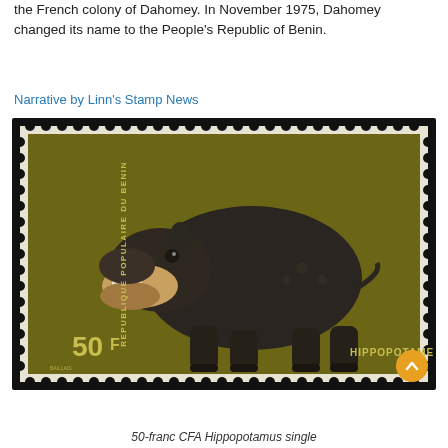the French colony of Dahomey. In November 1975, Dahomey changed its name to the People's Republic of Benin.
Narrative by Linn's Stamp News
[Figure (photo): A postage stamp from the People's Republic of Benin (POSTES 1976), showing a hippopotamus with its mouth open, standing in profile on an olive-gold background. The stamp reads 'REPUBLIQUE POPULAIRE DU BENIN', '50F', and 'HIPPOPOTAME'. Artist credit: BAILLAIS.]
50-franc CFA Hippopotamus single